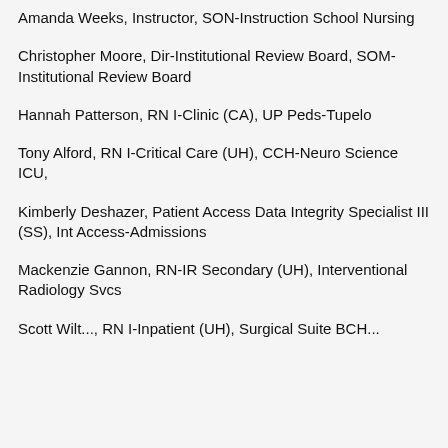Amanda Weeks, Instructor, SON-Instruction School Nursing
Christopher Moore, Dir-Institutional Review Board, SOM-Institutional Review Board
Hannah Patterson, RN I-Clinic (CA), UP Peds-Tupelo
Tony Alford, RN I-Critical Care (UH), CCH-Neuro Science ICU,
Kimberly Deshazer, Patient Access Data Integrity Specialist III (SS), Int Access-Admissions
Mackenzie Gannon, RN-IR Secondary (UH), Interventional Radiology Svcs
Scott Wilt..., RN I-Inpatient (UH), Surgical Suite BCH...